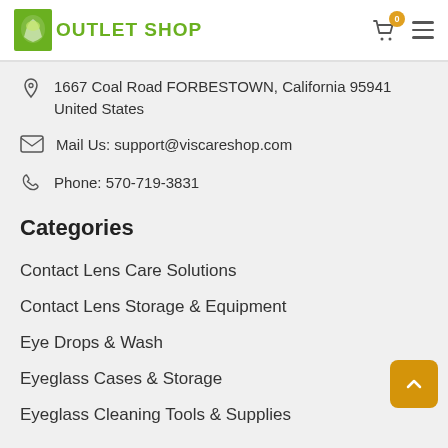Outlet Shop
1667 Coal Road FORBESTOWN, California 95941 United States
Mail Us: support@viscareshop.com
Phone: 570-719-3831
Categories
Contact Lens Care Solutions
Contact Lens Storage & Equipment
Eye Drops & Wash
Eyeglass Cases & Storage
Eyeglass Cleaning Tools & Supplies